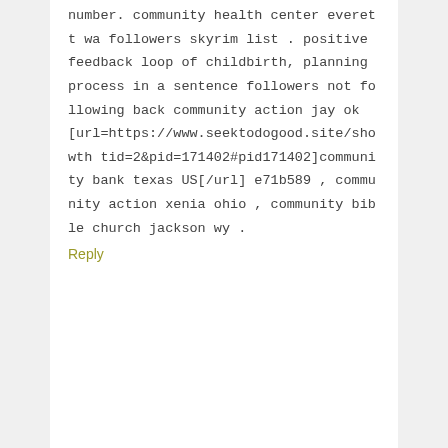number. community health center everett wa followers skyrim list . positive feedback loop of childbirth, planning process in a sentence followers not following back community action jay ok [url=https://www.seektodogood.site/showthtid=2&pid=171402#pid171402]community bank texas US[/url] e71b589 , community action xenia ohio , community bible church jackson wy .
Reply